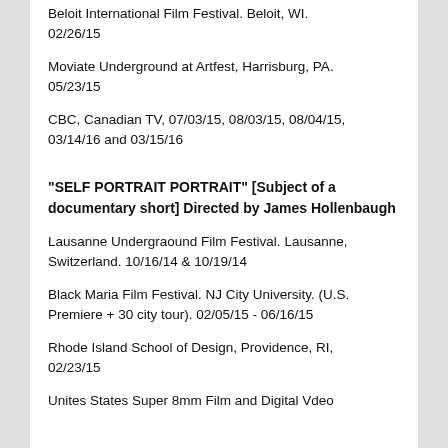Beloit International Film Festival. Beloit, WI. 02/26/15
Moviate Underground at Artfest, Harrisburg, PA. 05/23/15
CBC, Canadian TV, 07/03/15, 08/03/15, 08/04/15, 03/14/16 and 03/15/16
"SELF PORTRAIT PORTRAIT" [Subject of a documentary short] Directed by James Hollenbaugh
Lausanne Undergraound Film Festival. Lausanne, Switzerland. 10/16/14 & 10/19/14
Black Maria Film Festival. NJ City University. (U.S. Premiere + 30 city tour). 02/05/15 - 06/16/15
Rhode Island School of Design, Providence, RI, 02/23/15
Unites States Super 8mm Film and Digital Vdeo